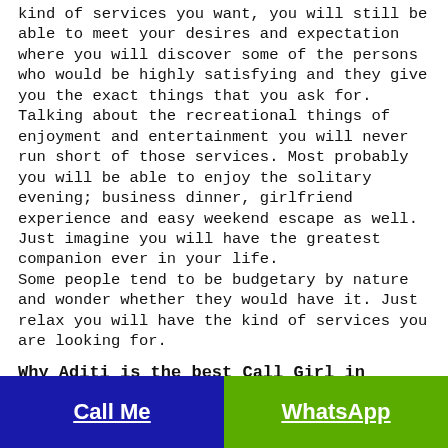kind of services you want, you will still be able to meet your desires and expectation where you will discover some of the persons who would be highly satisfying and they give you the exact things that you ask for. Talking about the recreational things of enjoyment and entertainment you will never run short of those services. Most probably you will be able to enjoy the solitary evening; business dinner, girlfriend experience and easy weekend escape as well. Just imagine you will have the greatest companion ever in your life.
Some people tend to be budgetary by nature and wonder whether they would have it. Just relax you will have the kind of services you are looking for.
Why Aditi is the best Call Girl in Delhi?
I am Aditi Ghosh a call girl in Delhi I am a prostitute who serves you for your enjoyment, I provide both incall and outcall in hotel room services and I do not display my profession to the general public. I am
Call Me | WhatsApp